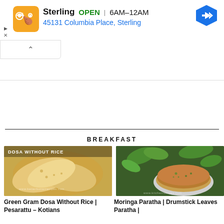[Figure (screenshot): Advertisement banner for Sterling restaurant showing orange logo, OPEN status, hours 6AM-12AM, address 45131 Columbia Place, Sterling, and a blue navigation arrow icon]
[Figure (photo): Photo of Green Gram Dosa Without Rice (Pesarattu) with text overlay 'DOSA WITHOUT RICE']
Green Gram Dosa Without Rice | Pesarattu – Kotians
[Figure (photo): Photo of Moringa Paratha / Drumstick Leaves Paratha stacked on a plate with green moringa leaves in background]
Moringa Paratha | Drumstick Leaves Paratha |
BREAKFAST